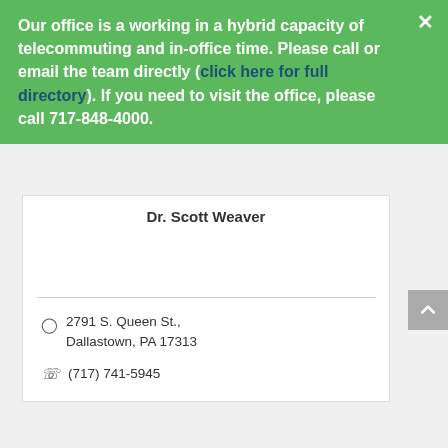Our office is a working in a hybrid capacity of telecommuting and in-office time. Please call or email the team directly (click here for full directory). If you need to visit the office, please call 717-848-4000.
Dr. Scott Weaver
2791 S. Queen St., Dallastown, PA 17313
(717) 741-5945